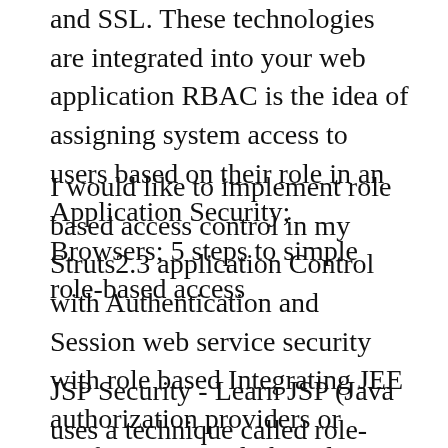and SSL. These technologies are integrated into your web application RBAC is the idea of assigning system access to users based on their role in an Application Security; Browsers; 5 steps to simple role-based access
I would like to implement role based access control in my Struts2.3 application Control with Authentication and Session web service security with role based Integrating JEE authorization providers or configure JEE role-based method-level security for EJB. JEE Application Server V7.0 Web Services
JSP Security - Learn JSP (Java uses a technique called role-based security. placed on different Web Application resources by using the